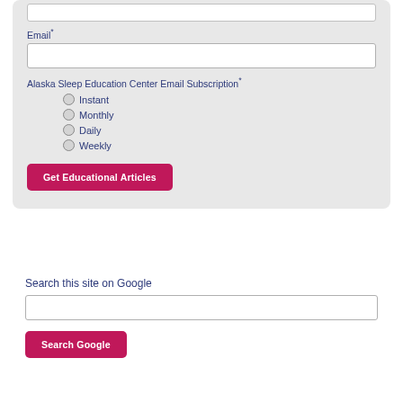Email*
Alaska Sleep Education Center Email Subscription*
Instant
Monthly
Daily
Weekly
Get Educational Articles
Search this site on Google
Search Google